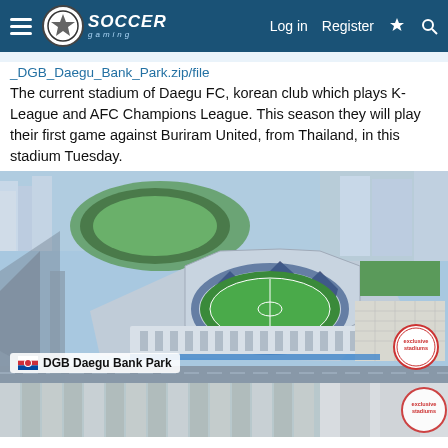Soccer Gaming — Log in | Register
_DGB_Daegu_Bank_Park.zip/file
The current stadium of Daegu FC, korean club which plays K-League and AFC Champions League. This season they will play their first game against Buriram United, from Thailand, in this stadium Tuesday.
[Figure (illustration): 3D rendered aerial view of DGB Daegu Bank Park stadium surrounded by city blocks, roads, and parking lots. Stadium has a distinctive star-patterned roof and green playing field.]
[Figure (photo): Partial view of a second stadium image, showing the lower portion of a stadium exterior with columns/facade visible.]